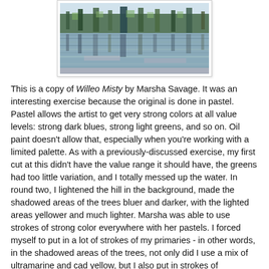[Figure (illustration): A painting depicting a misty water scene with trees and reflections, resembling an Impressionist style with blues and greens.]
This is a copy of Willeo Misty by Marsha Savage.  It was an interesting exercise because the original is done in pastel.  Pastel allows the artist to get very strong colors at all value levels: strong dark blues, strong light greens, and so on.  Oil paint doesn't allow that, especially when you're working with a limited palette.  As with a previously-discussed exercise, my first cut at this didn't have the value range it should have, the greens had too little variation, and I totally messed up the water.  In round two, I lightened the hill in the background, made the shadowed areas of the trees bluer and darker, with the lighted areas yellower and much lighter.  Marsha was able to use strokes of strong color everywhere with her pastels.  I forced myself to put in a lot of strokes of my primaries - in other words, in the shadowed areas of the trees, not only did I use a mix of ultramarine and cad yellow, but I also put in strokes of ultramarine alone.  And I played